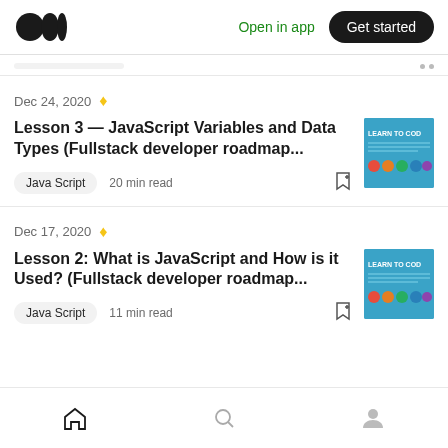Open in app  Get started
Dec 24, 2020 ★ Lesson 3 — JavaScript Variables and Data Types (Fullstack developer roadmap... Java Script  20 min read
Dec 17, 2020 ★ Lesson 2: What is JavaScript and How is it Used? (Fullstack developer roadmap... Java Script  11 min read
Home  Search  Profile